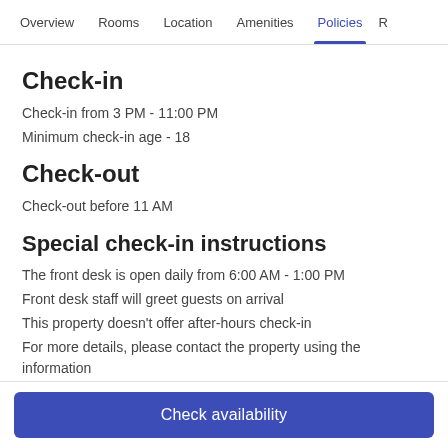Overview  Rooms  Location  Amenities  Policies  R
Check-in
Check-in from 3 PM - 11:00 PM
Minimum check-in age - 18
Check-out
Check-out before 11 AM
Special check-in instructions
The front desk is open daily from 6:00 AM - 1:00 PM
Front desk staff will greet guests on arrival
This property doesn't offer after-hours check-in
For more details, please contact the property using the information
Check availability